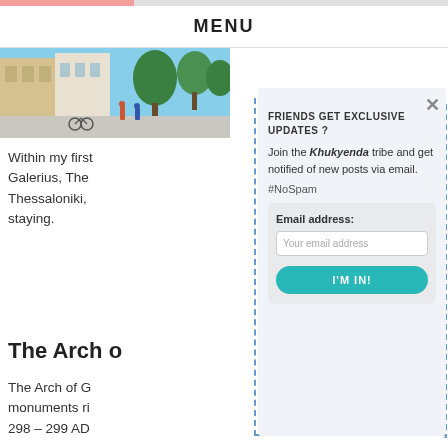MENU
[Figure (photo): Street scene in Thessaloniki with buildings, pedestrians, bicycles, and blue sky with trees]
Within my first Galerius, The Thessaloniki, staying.
The Arch o
The Arch of G monuments ri 298 – 299 AD octopylon (eig
FRIENDS GET EXCLUSIVE UPDATES ?
Join the Khukyenda tribe and get notified of new posts via email.
#NoSpam
Email address:
Your email address
I'M IN!